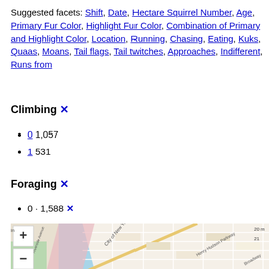Suggested facets: Shift, Date, Hectare Squirrel Number, Age, Primary Fur Color, Highlight Fur Color, Combination of Primary and Highlight Color, Location, Running, Chasing, Eating, Kuks, Quaas, Moans, Tail flags, Tail twitches, Approaches, Indifferent, Runs from
Climbing ✕
0 1,057
1 531
Foraging ✕
0 · 1,588 ✕
[Figure (map): Street map of lower Manhattan / Hudson area showing city streets, waterways, and parks. Map has zoom + and - controls in upper left corner.]